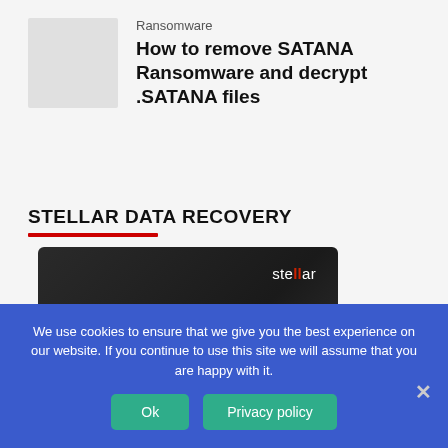[Figure (illustration): Light gray thumbnail placeholder image for the ransomware article]
Ransomware
How to remove SATANA Ransomware and decrypt .SATANA files
STELLAR DATA RECOVERY
[Figure (photo): Stellar Data Recovery product box with dark background, showing 'stellar' logo in top right and 'Stellar Data Recovery' text]
We use cookies to ensure that we give you the best experience on our website. If you continue to use this site we will assume that you are happy with it.